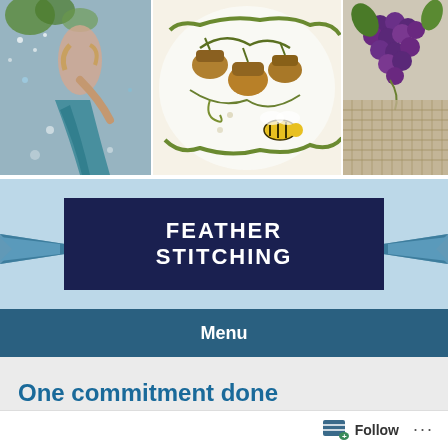[Figure (photo): Three-panel photo collage showing embroidery and needlework: left panel shows a mermaid embroidery figure in blue and green, middle panel shows acorns and a bee on white fabric with decorative stitching, right panel shows grapes and a woven basket on fabric.]
FEATHER STITCHING
Menu
One commitment done
Aug 16, 2006
Follow